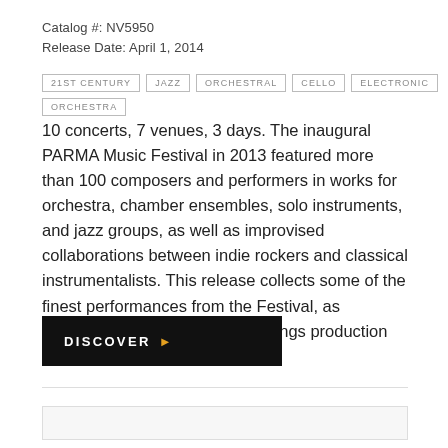Catalog #: NV5950
Release Date: April 1, 2014
21ST CENTURY
JAZZ
ORCHESTRAL
CELLO
ELECTRONIC
ORCHESTRA
10 concerts, 7 venues, 3 days. The inaugural PARMA Music Festival in 2013 featured more than 100 composers and performers in works for orchestra, chamber ensembles, solo instruments, and jazz groups, as well as improvised collaborations between indie rockers and classical instrumentalists. This release collects some of the finest performances from the Festival, as recorded by the PARMA Recordings production team.
[Figure (other): Black DISCOVER button with orange arrow indicator]
[Figure (other): Light gray box/panel at bottom of page]